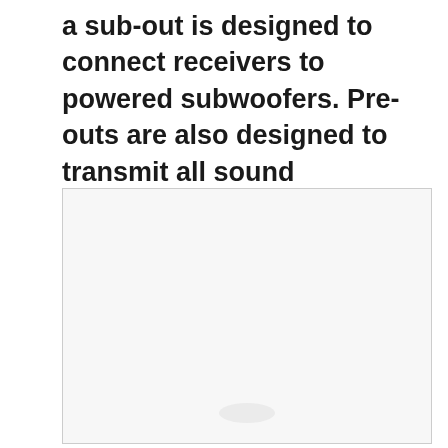a sub-out is designed to connect receivers to powered subwoofers. Pre-outs are also designed to transmit all sound frequencies, while sub-outs are limited to transmitting bass frequencies only.
[Figure (photo): A large mostly blank/white image box with a light gray background and border, containing faint indistinct content near the bottom center.]